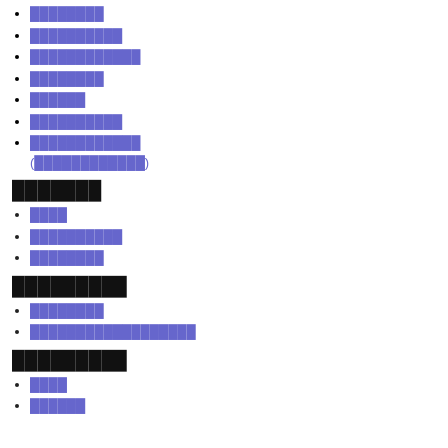████████
██████████
████████████
████████
██████
██████████
████████████ (████████████)
███████
████
██████████
████████
█████████
████████
██████████████████
█████████
████
██████